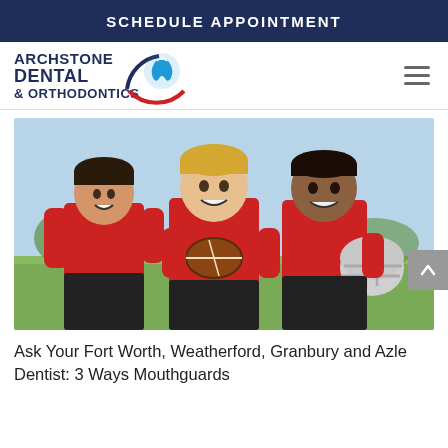SCHEDULE APPOINTMENT
[Figure (logo): Archstone Dental & Orthodontics logo with tooth icon and blue/red arc design]
[Figure (photo): Three young boys in red football jerseys smiling, the middle one holding a football and the right one holding a helmet]
Ask Your Fort Worth, Weatherford, Granbury and Azle Dentist: 3 Ways Mouthguards